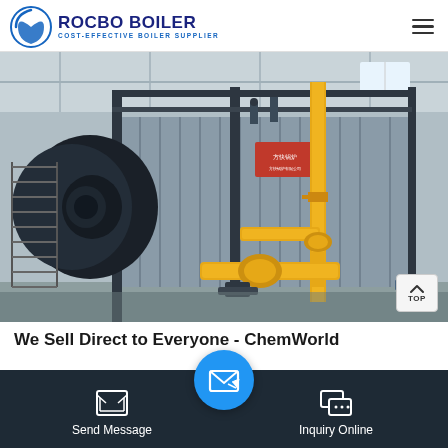ROCBO BOILER - COST-EFFECTIVE BOILER SUPPLIER
[Figure (photo): Industrial gas/oil fired boiler in a factory setting, showing a large cylindrical dark boiler unit on the left with stairs, and a long corrugated metal boiler body with yellow gas piping on the right. Chinese text visible on the boiler unit.]
We Sell Direct to Everyone - ChemWorld
Send Message | Inquiry Online